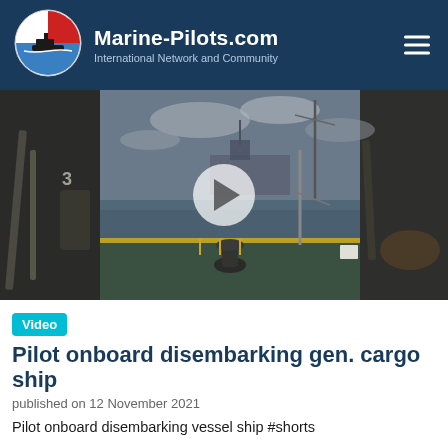Marine-Pilots.com International Network and Community
[Figure (screenshot): Video thumbnail showing the deck of a general cargo ship with a marine pilot onboard, view of sea and sky in background, semi-transparent play button overlay in center]
Video  Pilot onboard disembarking gen. cargo ship
published on 12 November 2021
Pilot onboard disembarking vessel ship #shorts